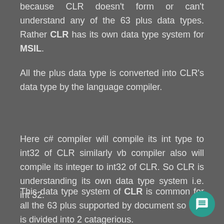because CLR doesn't form or can't understand any of the 63 plus data types. Rather CLR has its own data type system for MSIL.
All the plus data type is converted into CLR's data type by the language compiler.
Here c# compiler will compile its int type to int32 of CLR similarly vb compiler also will compile its integer to int32 of CLR. So CLR is understanding its own data type system i.e. int 32.
This data type system of CLR is common for all the 63 plus supported by document so that is divided into 2 catagerious.